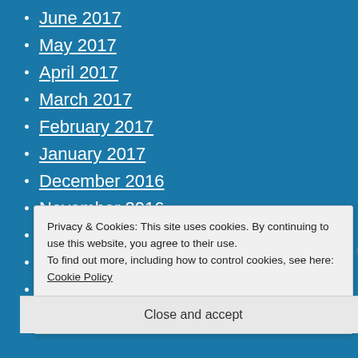June 2017
May 2017
April 2017
March 2017
February 2017
January 2017
December 2016
November 2016
October 2016
September 2016
August 2016
Privacy & Cookies: This site uses cookies. By continuing to use this website, you agree to their use.
To find out more, including how to control cookies, see here: Cookie Policy
Close and accept